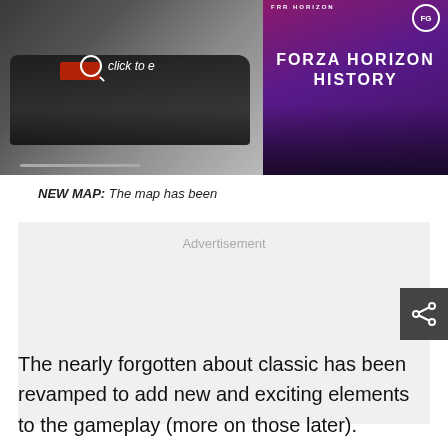[Figure (screenshot): Left side: dark car photo with magnify icon and 'click to e' text overlay, progress bar at bottom. Right side: Forza Horizon History promotional banner with purple-red gradient background, FG badge, car image.]
NEW MAP: The map has been
[Figure (other): Advertisement placeholder block with light gray background and 'Advertisement' label text]
The nearly forgotten about classic has been revamped to add new and exciting elements to the gameplay (more on those later).